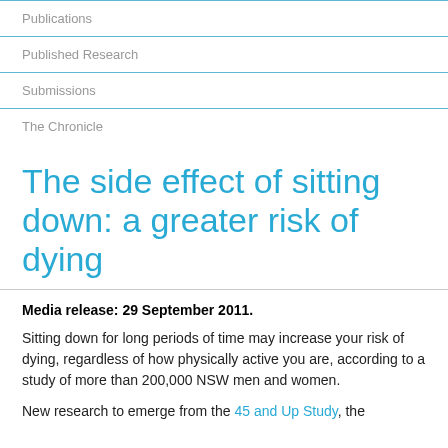Publications
Published Research
Submissions
The Chronicle
The side effect of sitting down: a greater risk of dying
Media release: 29 September 2011.
Sitting down for long periods of time may increase your risk of dying, regardless of how physically active you are, according to a study of more than 200,000 NSW men and women.
New research to emerge from the 45 and Up Study, the